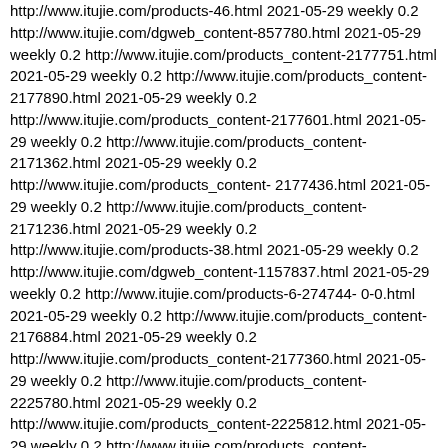http://www.itujie.com/products-46.html 2021-05-29 weekly 0.2 http://www.itujie.com/dgweb_content-857780.html 2021-05-29 weekly 0.2 http://www.itujie.com/products_content-2177751.html 2021-05-29 weekly 0.2 http://www.itujie.com/products_content-2177890.html 2021-05-29 weekly 0.2 http://www.itujie.com/products_content-2177601.html 2021-05-29 weekly 0.2 http://www.itujie.com/products_content-2171362.html 2021-05-29 weekly 0.2 http://www.itujie.com/products_content-2177436.html 2021-05-29 weekly 0.2 http://www.itujie.com/products_content-2171236.html 2021-05-29 weekly 0.2 http://www.itujie.com/products-38.html 2021-05-29 weekly 0.2 http://www.itujie.com/dgweb_content-1157837.html 2021-05-29 weekly 0.2 http://www.itujie.com/products-6-274744-0-0.html 2021-05-29 weekly 0.2 http://www.itujie.com/products_content-2176884.html 2021-05-29 weekly 0.2 http://www.itujie.com/products_content-2177360.html 2021-05-29 weekly 0.2 http://www.itujie.com/products_content-2225780.html 2021-05-29 weekly 0.2 http://www.itujie.com/products_content-2225812.html 2021-05-29 weekly 0.2 http://www.itujie.com/products_content-2171123.html 2021-05-29 weekly 0.2 http://www.itujie.com/news_content-881527.html 2021-05-29 weekly 0.2 http://www.itujie.com/dgweb_content-1156419.html 2021-05-29 weekly 0.2 http://www.itujie.com/products_content-2177264.html 2021-05-29 weekly 0.2 http://www.itujie.com/products_content-